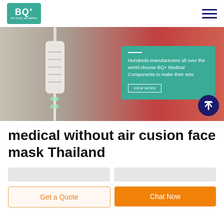[Figure (logo): BQ+ logo on teal/green square background with text 'For trust, we deliver']
[Figure (photo): Medical IV drip component close-up photo with teal overlay box containing promotional text and 'VIEW MORE' button. Also shows scroll-up navigation button.]
Hundreds manufacturers all over the world choose BQ+ Medical Components to make their sets
medical without air cusion face mask Thailand
Get a Quote
Chat Now